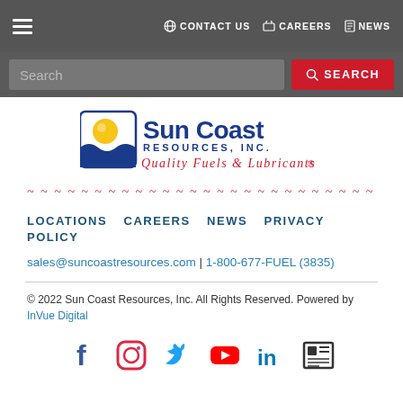☰  CONTACT US  CAREERS  NEWS
Search  SEARCH
[Figure (logo): Sun Coast Resources, Inc. Quality Fuels & Lubricants logo with yellow and blue sun/wave icon]
Quality Fuels & Lubricants (decorative dashed red text)
LOCATIONS  CAREERS  NEWS  PRIVACY POLICY
sales@suncoastresources.com | 1-800-677-FUEL (3835)
© 2022 Sun Coast Resources, Inc. All Rights Reserved. Powered by InVue Digital
[Figure (other): Social media icons: Facebook, Instagram, Twitter, YouTube, LinkedIn, News/Media]